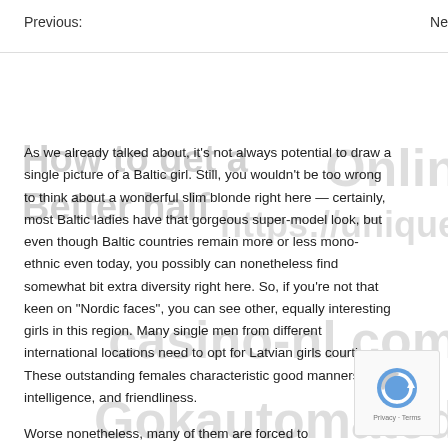Previous:
Ne
How to get a Better half
Online https://unique casino-nl.com Gokautomaten
As we already talked about, it's not always potential to draw a single picture of a Baltic girl. Still, you wouldn't be too wrong to think about a wonderful slim blonde right here — certainly, most Baltic ladies have that gorgeous super-model look, but even though Baltic countries remain more or less mono-ethnic even today, you possibly can nonetheless find somewhat bit extra diversity right here. So, if you're not that keen on "Nordic faces", you can see other, equally interesting girls in this region. Many single men from different international locations need to opt for Latvian girls courting. These outstanding females characteristic good manners, intelligence, and friendliness.
Worse nonetheless, many of them are forced to